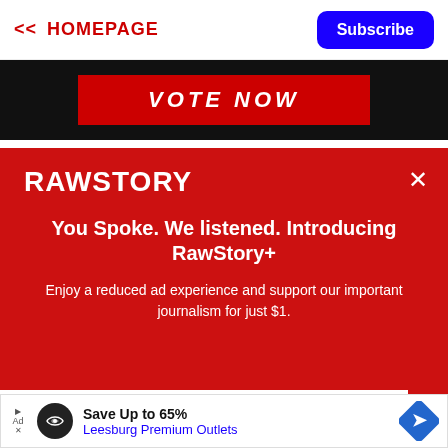<< HOMEPAGE | Subscribe
[Figure (screenshot): Black banner with red 'VOTE NOW' button in italic bold text]
[Figure (logo): RAWSTORY logo in white on red background with X close button]
You Spoke. We listened. Introducing RawStory+
Enjoy a reduced ad experience and support our important journalism for just $1.
SUBSCRIBE
[Figure (infographic): Advertisement: Save Up to 65% - Leesburg Premium Outlets with logo and direction sign icon]